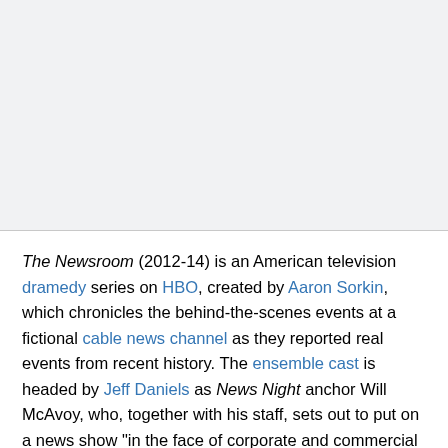[Figure (other): Gray placeholder area at the top of the page, approximately half the page height, separated from the text by a horizontal rule.]
The Newsroom (2012-14) is an American television dramedy series on HBO, created by Aaron Sorkin, which chronicles the behind-the-scenes events at a fictional cable news channel as they reported real events from recent history. The ensemble cast is headed by Jeff Daniels as News Night anchor Will McAvoy, who, together with his staff, sets out to put on a news show "in the face of corporate and commercial obstacles and their own personal